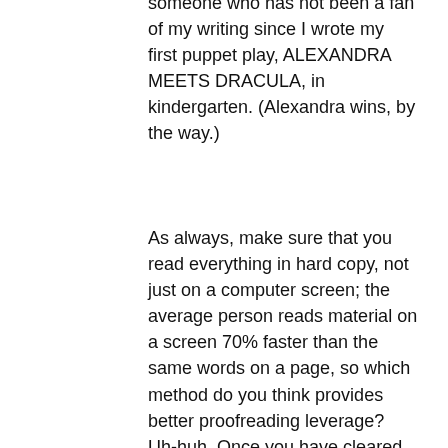someone who has not been a fan of my writing since I wrote my first puppet play, ALEXANDRA MEETS DRACULA, in kindergarten. (Alexandra wins, by the way.)
As always, make sure that you read everything in hard copy, not just on a computer screen; the average person reads material on a screen 70% faster than the same words on a page, so which method do you think provides better proofreading leverage? Uh-huh. Once you have cleared out any grammatical or spelling problems, and made sure your submission pieces say what you thought